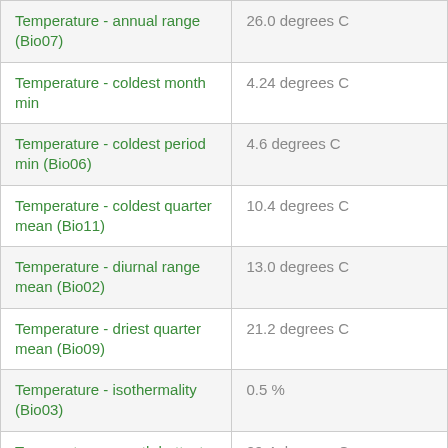| Temperature - annual range (Bio07) | 26.0 degrees C |
| Temperature - coldest month min | 4.24 degrees C |
| Temperature - coldest period min (Bio06) | 4.6 degrees C |
| Temperature - coldest quarter mean (Bio11) | 10.4 degrees C |
| Temperature - diurnal range mean (Bio02) | 13.0 degrees C |
| Temperature - driest quarter mean (Bio09) | 21.2 degrees C |
| Temperature - isothermality (Bio03) | 0.5 % |
| Temperature - month hottest maximum | 29.4 degrees C |
| Temperature - seasonality (Bio04) | 1.53 |